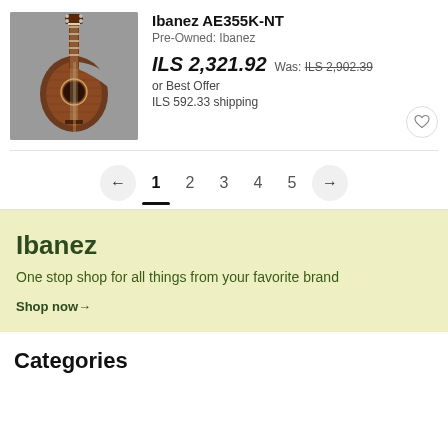[Figure (photo): Photo of an Ibanez AE355K-NT acoustic guitar with cutaway body, koa wood finish, shown against a gray background]
Ibanez AE355K-NT
Pre-Owned: Ibanez
ILS 2,321.92  Was: ILS 2,902.39
or Best Offer
ILS 592.33 shipping
1  2  3  4  5  (pagination)
Ibanez
One stop shop for all things from your favorite brand
Shop now →
Categories